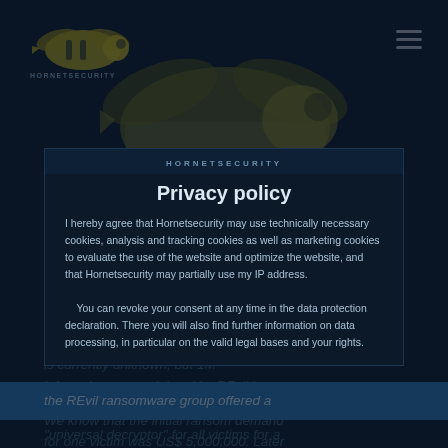[Figure (logo): Hornetsecurity logo with yellow/green hornet graphic and HORNETSECURITY text]
One incident response provider says they "are tracking ~30 MSPs across the US, AUS, EU, and Asia that were compromised and used to encrypt well over 1,000 businesses". The total number of victims is currently unknown, but 1M infected systems claimed by REvil is very plausible.
How high is the ransom demand?
We know that the initial ransom demand for one victim was US$ 5,000,000. Later the REvil ransomware group offered a "universal decryptor" for all victims for a
Privacy policy
I hereby agree that Hornetsecurity may use technically necessary cookies, analysis and tracking cookies as well as marketing cookies to evaluate the use of the website and optimize the website, and that Hornetsecurity may partially use my IP address.

You can revoke your consent at any time in the data protection declaration. There you will also find further information on data processing, in particular on the valid legal bases and your rights.